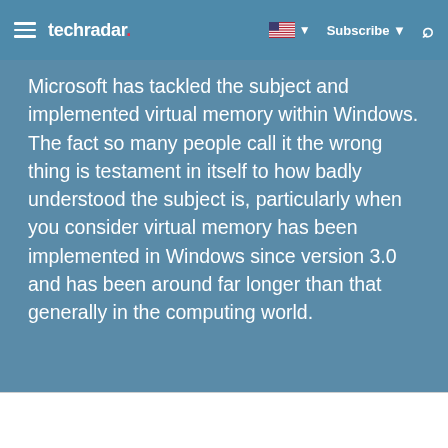techradar | Subscribe | Search
Microsoft has tackled the subject and implemented virtual memory within Windows. The fact so many people call it the wrong thing is testament in itself to how badly understood the subject is, particularly when you consider virtual memory has been implemented in Windows since version 3.0 and has been around far longer than that generally in the computing world.